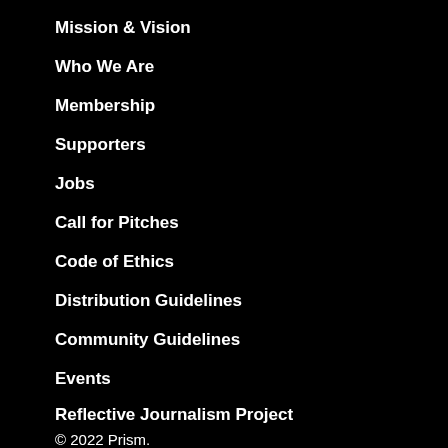Mission & Vision
Who We Are
Membership
Supporters
Jobs
Call for Pitches
Code of Ethics
Distribution Guidelines
Community Guidelines
Events
Reflective Journalism Project
© 2022 Prism.
Proudly powered by Newspack by Automattic